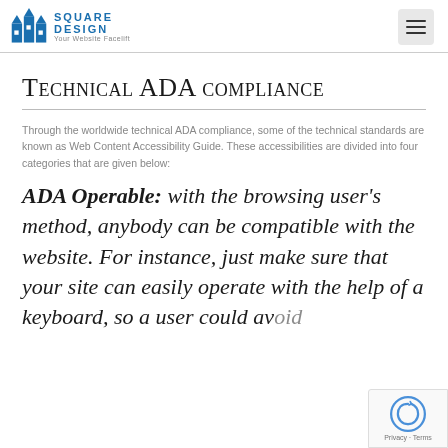Square Design — Your Website Facelift
Technical ADA compliance
Through the worldwide technical ADA compliance, some of the technical standards are known as Web Content Accessibility Guide. These accessibilities are divided into four categories that are given below:
ADA Operable: with the browsing user's method, anybody can be compatible with the website. For instance, just make sure that your site can easily operate with the help of a keyboard, so a user could avoid pausing any action, in case of ensuring